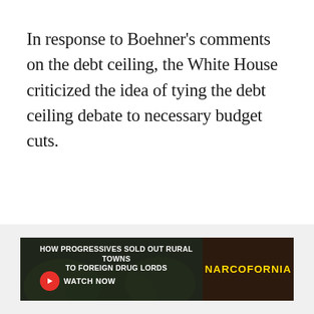In response to Boehner's comments on the debt ceiling, the White House criticized the idea of tying the debt ceiling debate to necessary budget cuts.
[Figure (other): Close/dismiss button circle with X icon in bottom right of content area]
[Figure (other): Advertisement banner: 'HOW PROGRESSIVES SOLD OUT RURAL TOWNS TO FOREIGN DRUG LORDS' with Watch Now button and Narcofornia logo on dark background with plant imagery]